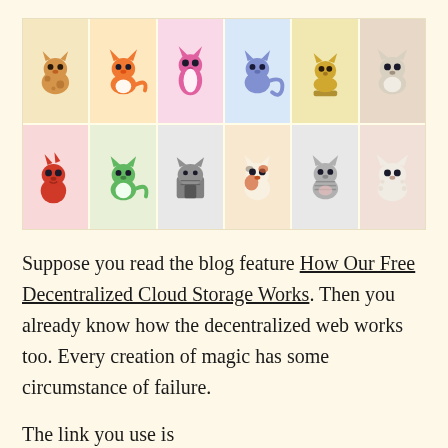[Figure (illustration): A 6x2 grid of cartoon cat/creature NFT-style illustrations, each on a colored background. Top row: spotted brown cat (yellow bg), orange cat (peach bg), pink cat (pink bg), blue cat (light blue bg), yellow cat (pale yellow bg), white/grey cat (beige bg). Bottom row: red dinosaur-cat (pink bg), green cat (light green bg), grey cat building/house shape (grey bg), calico cat (peach bg), grey striped cat (grey bg), white fluffy cat (salmon bg).]
Suppose you read the blog feature How Our Free Decentralized Cloud Storage Works. Then you already know how the decentralized web works too. Every creation of magic has some circumstance of failure.
The link you use is